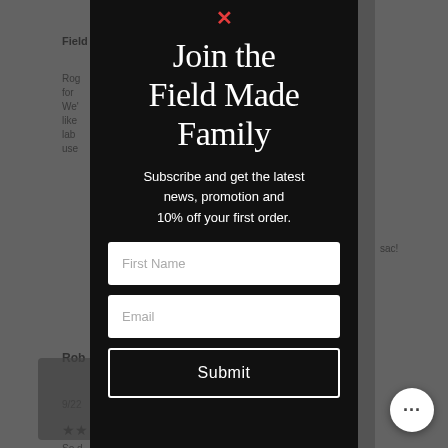[Figure (screenshot): Background greyed-out webpage showing product review content with partial text including 'Field', 'Rog...', 'Rob...', 'sac!', date '9/22', star rating, and 'So d...' text]
Join the Field Made Family
Subscribe and get the latest news, promotion and 10% off your first order.
First Name
Email
Submit